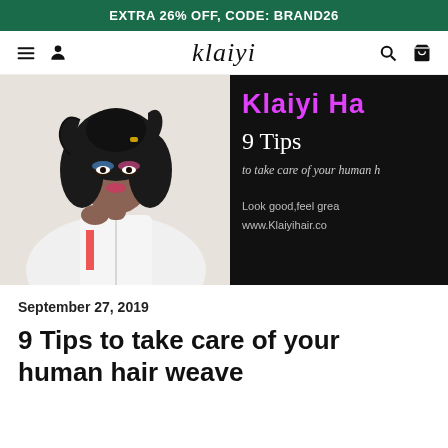EXTRA 26% OFF, CODE: BRAND26
klaiyi
[Figure (photo): Hero image split: left side shows a woman with curly black hair wearing a white jacket with colorful eye makeup; right side shows a black promotional panel with pink 'Klaiyi Ha' text, '9 Tips', 'to take care of your human h', 'Look good, feel grea', 'www.Klaiyihair.co']
September 27, 2019
9 Tips to take care of your human hair weave